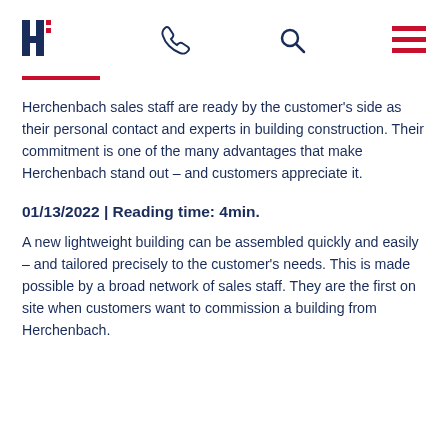Herchenbach logo, phone icon, search icon, menu icon
Herchenbach sales staff are ready by the customer's side as their personal contact and experts in building construction. Their commitment is one of the many advantages that make Herchenbach stand out – and customers appreciate it.
01/13/2022 | Reading time: 4min.
A new lightweight building can be assembled quickly and easily – and tailored precisely to the customer's needs. This is made possible by a broad network of sales staff. They are the first on site when customers want to commission a building from Herchenbach.